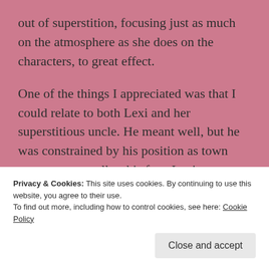out of superstition, focusing just as much on the atmosphere as she does on the characters, to great effect.
One of the things I appreciated was that I could relate to both Lexi and her superstitious uncle. He meant well, but he was constrained by his position as town protector, as well as his fear. Lexi was spunky and headstrong. Her character didn't grow all that much, instead being the constant in the story.
Privacy & Cookies: This site uses cookies. By continuing to use this website, you agree to their use.
To find out more, including how to control cookies, see here: Cookie Policy